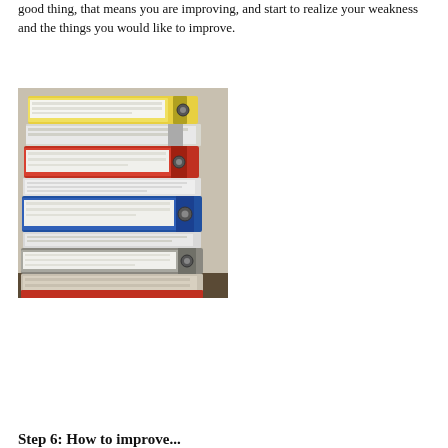good thing, that means you are improving, and start to realize your weakness and the things you would like to improve.
[Figure (photo): A tall stack of colorful binders and folders filled with documents, stacked on top of each other. Binders are yellow, red, blue, and gray/white.]
Step 6: How to improve...